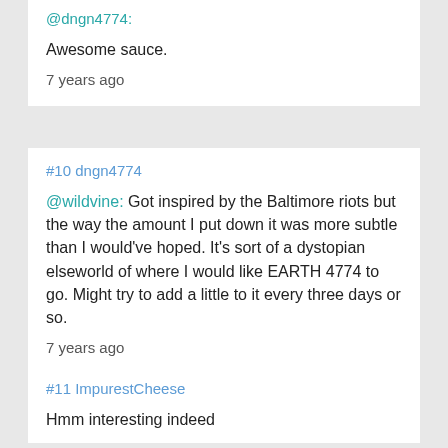@dngn4774:
Awesome sauce.
7 years ago
#10 dngn4774
@wildvine: Got inspired by the Baltimore riots but the way the amount I put down it was more subtle than I would've hoped. It's sort of a dystopian elseworld of where I would like EARTH 4774 to go. Might try to add a little to it every three days or so.
7 years ago
#11 ImpurestCheese
Hmm interesting indeed